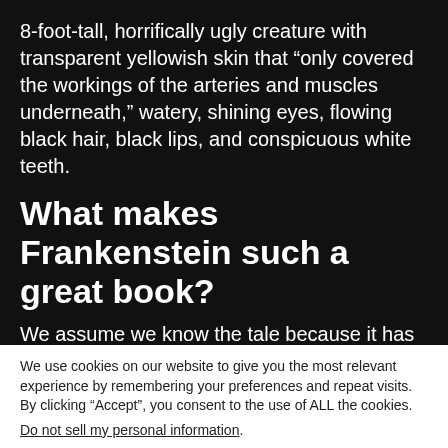8-foot-tall, horrifically ugly creature with transparent yellowish skin that “only covered the workings of the arteries and muscles underneath,” watery, shining eyes, flowing black hair, black lips, and conspicuous white teeth.
What makes Frankenstein such a great book?
We assume we know the tale because it has been
We use cookies on our website to give you the most relevant experience by remembering your preferences and repeat visits. By clicking “Accept”, you consent to the use of ALL the cookies.
Do not sell my personal information.